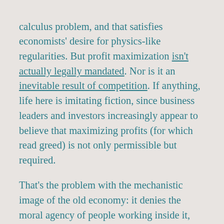calculus problem, and that satisfies economists' desire for physics-like regularities. But profit maximization isn't actually legally mandated. Nor is it an inevitable result of competition. If anything, life here is imitating fiction, since business leaders and investors increasingly appear to believe that maximizing profits (for which read greed) is not only permissible but required.
That's the problem with the mechanistic image of the old economy: it denies the moral agency of people working inside it, and demands that its structures be dismantled in favor of a new, more social and human alternative. But the economy is already social and human. People may